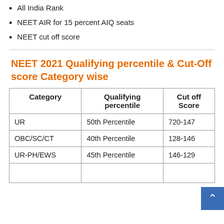All India Rank
NEET AIR for 15 percent AIQ seats
NEET cut off score
NEET 2021 Qualifying percentile & Cut-Off score Category wise
| Category | Qualifying percentile | Cut off Score |
| --- | --- | --- |
| UR | 50th Percentile | 720-147 |
| OBC/SC/CT | 40th Percentile | 128-146 |
| UR-PH/EWS | 45th Percentile | 146-129 |